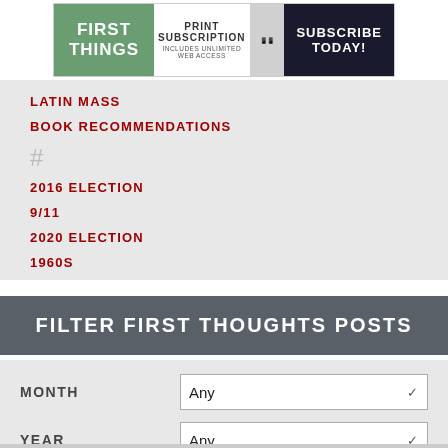[Figure (logo): First Things magazine banner ad with logo, print subscription text, and subscribe today call to action]
LATIN MASS
BOOK RECOMMENDATIONS
#
2016 ELECTION
9/11
2020 ELECTION
1960S
FILTER FIRST THOUGHTS POSTS
MONTH
Any
YEAR
Any
GO